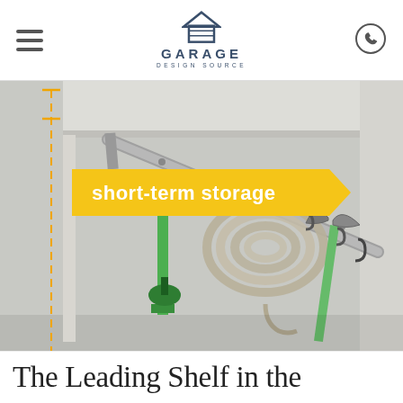Garage Design Source
[Figure (photo): A garage storage shelf system showing tools and garden hose hanging from a metal rack, with a 'short-term storage' yellow ribbon banner overlaid on the image. A dashed orange/yellow vertical measurement line is shown on the left side.]
The Leading Shelf in the